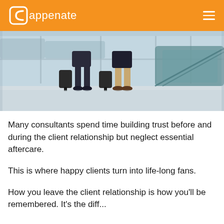appenate
[Figure (photo): Two business travelers walking with rolling luggage in an airport terminal with large windows and escalators in the background.]
Many consultants spend time building trust before and during the client relationship but neglect essential aftercare.
This is where happy clients turn into life-long fans.
How you leave the client relationship is how you'll be remembered. It's the diff...